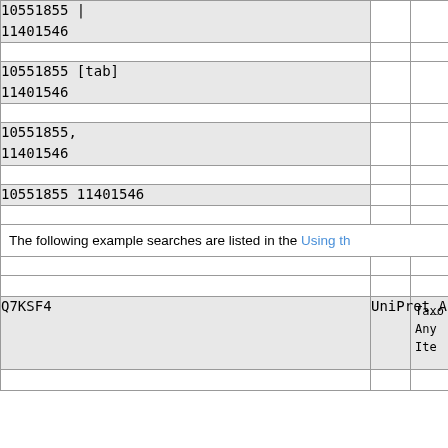| 10551855 |
11401546 |  |  |
|  |  |  |
| 10551855 [tab]
11401546 |  |  |
|  |  |  |
| 10551855,
11401546 |  |  |
|  |  |  |
| 10551855 11401546 |  |  |
The following example searches are listed in the Using th...
|  |  |  |
| Q7KSF4 | UniProt_Ac | Taxo
Any
Item... |